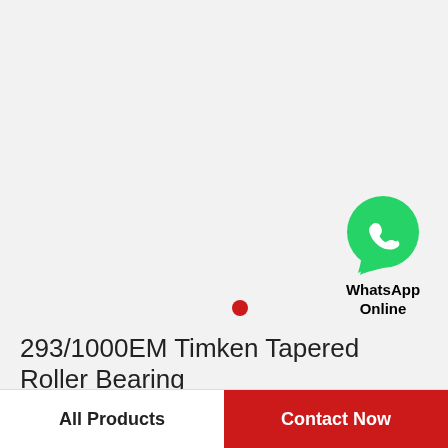[Figure (logo): WhatsApp green circular icon with phone handset symbol in white, followed by text 'WhatsApp Online']
293/1000EM Timken Tapered Roller Bearing
All Products   Contact Now